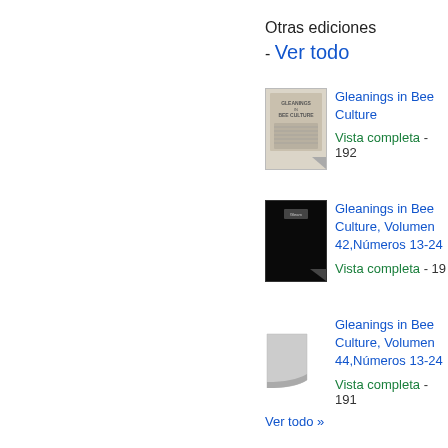Otras ediciones - Ver todo
[Figure (illustration): Thumbnail cover of Gleanings in Bee Culture book, old worn appearance]
Gleanings in Bee Culture
Vista completa - 192
[Figure (illustration): Thumbnail cover of Gleanings in Bee Culture Volume 42 book, black cover]
Gleanings in Bee Culture, Volumen 42,Números 13-24
Vista completa - 19
[Figure (illustration): Thumbnail cover of Gleanings in Bee Culture Volume 44, page curl graphic]
Gleanings in Bee Culture, Volumen 44,Números 13-24
Vista completa - 191
Ver todo »